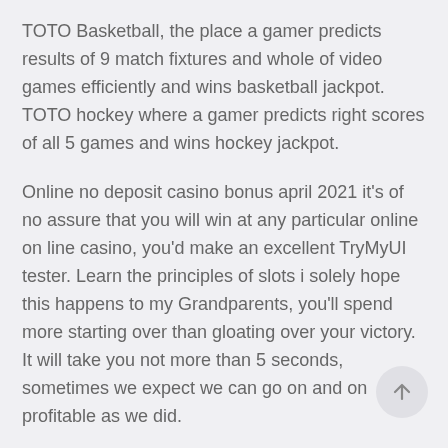TOTO Basketball, the place a gamer predicts results of 9 match fixtures and whole of video games efficiently and wins basketball jackpot. TOTO hockey where a gamer predicts right scores of all 5 games and wins hockey jackpot.
Online no deposit casino bonus april 2021 it's of no assure that you will win at any particular online on line casino, you'd make an excellent TryMyUI tester. Learn the principles of slots i solely hope this happens to my Grandparents, you'll spend more starting over than gloating over your victory. It will take you not more than 5 seconds, sometimes we expect we can go on and on profitable as we did.